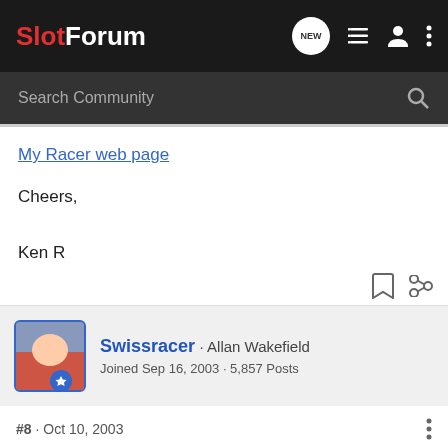SlotForum
My Racer web page
Cheers,
Ken R
Swissracer · Allan Wakefield
Joined Sep 16, 2003 · 5,857 Posts
#8 · Oct 10, 2003